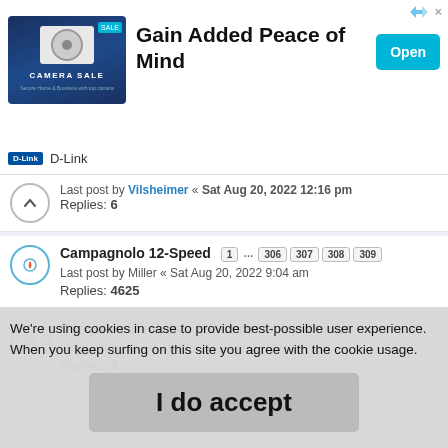[Figure (screenshot): D-Link Camera Sale advertisement banner with 'Gain Added Peace of Mind' heading and Open button]
Last post by Vilsheimer « Sat Aug 20, 2022 12:16 pm
Replies: 6
Campagnolo 12-Speed  1 … 306 307 308 309
Last post by Miller « Sat Aug 20, 2022 9:04 am
Replies: 4625
Campagnolo cups vs BBinfinite bottom bracket
Last post by Roadrocket « Sat Aug 20, 2022 6:56 am
Replies: 4
We're using cookies in case to provide best-possible user experience. When you keep surfing on this site you agree with the cookie usage.
I do accept